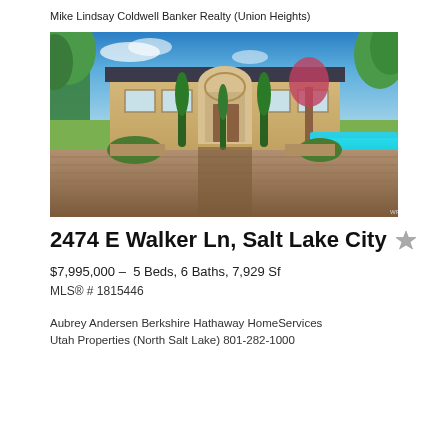Mike Lindsay Coldwell Banker Realty (Union Heights)
[Figure (photo): Exterior photo of a luxury estate home with pool, lush green trees, Italian/Mediterranean style architecture with arched entry, paver driveway, and manicured grounds]
2474 E Walker Ln, Salt Lake City
$7,995,000 – 5 Beds, 6 Baths, 7,929 Sf
MLS® # 1815446
Aubrey Andersen Berkshire Hathaway HomeServices Utah Properties (North Salt Lake) 801-282-1000